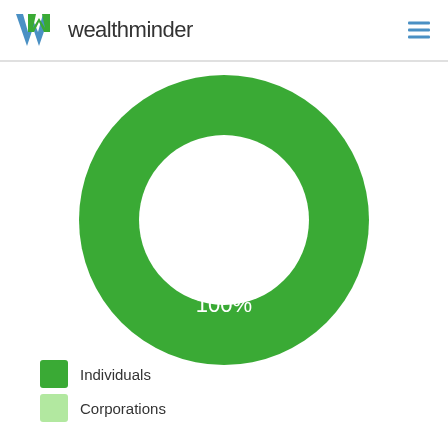wealthminder
[Figure (donut-chart): ]
Individuals
Corporations